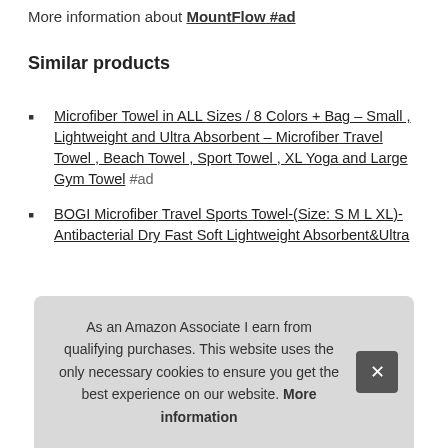More information about MountFlow #ad
Similar products
Microfiber Towel in ALL Sizes / 8 Colors + Bag – Small , Lightweight and Ultra Absorbent – Microfiber Travel Towel , Beach Towel , Sport Towel , XL Yoga and Large Gym Towel #ad
BOGI Microfiber Travel Sports Towel-(Size: S M L XL)-Antibacterial Dry Fast Soft Lightweight Absorbent&Ultra
As an Amazon Associate I earn from qualifying purchases. This website uses the only necessary cookies to ensure you get the best experience on our website. More information